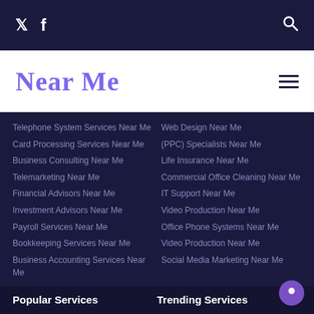Twitter, Facebook, Search icons
Near Me
Telephone System Services Near Me
Card Processing Services Near Me
Business Consulting Near Me
Telemarketing Near Me
Financial Advisors Near Me
Investment Advisors Near Me
Payroll Services Near Me
Bookkeeping Services Near Me
Business Accounting Services Near Me
Web Design Near Me
(PPC) Specialists Near Me
Life Insurance Near Me
Commercial Office Cleaning Near Me
IT Support Near Me
Video Production Near Me
Office Phone Systems Near Me
Video Production Near Me
Social Media Marketing Near Me
Popular Services
Trending Services